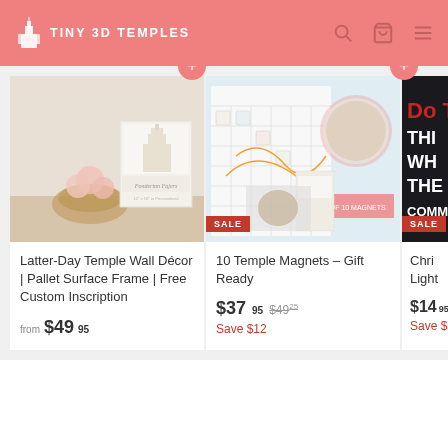TINY 3D TEMPLES
[Figure (photo): Latter-Day Temple Wall Décor product photo showing a pallet frame with temple art and floral arrangement]
Latter-Day Temple Wall Décor | Pallet Surface Frame | Free Custom Inscription
from $49.95
[Figure (photo): 10 Temple Magnets gift set product photo showing magnets on a calendar board with SALE badge]
10 Temple Magnets – Gift Ready
$37.95 $49.25 Save $12
[Figure (photo): Christmas Light product photo with dark background showing partial text, with SALE badge]
Chri... Light
$14.9... Save $...